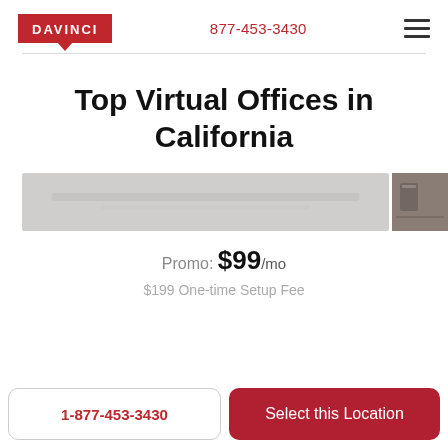[Figure (logo): Davinci Virtual Office logo — red badge with white text 'DAVINCI' and a speech bubble pointer at the bottom]
877-453-3430
Top Virtual Offices in California
[Figure (photo): Interior office space photograph strip]
Promo: $99/mo
$199 One-time Setup Fee
1-877-453-3430
Select this Location